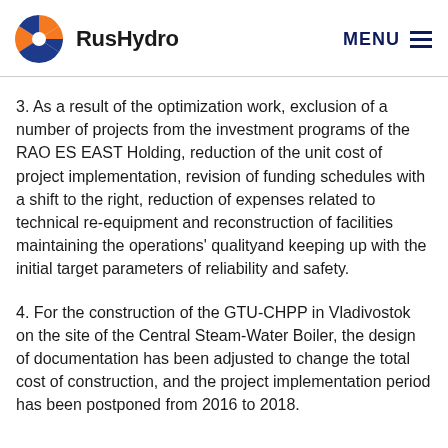RusHydro  MENU
3. As a result of the optimization work, exclusion of a number of projects from the investment programs of the RAO ES EAST Holding, reduction of the unit cost of project implementation, revision of funding schedules with a shift to the right, reduction of expenses related to technical re-equipment and reconstruction of facilities maintaining the operations' qualityand keeping up with the initial target parameters of reliability and safety.
4. For the construction of the GTU-CHPP in Vladivostok on the site of the Central Steam-Water Boiler, the design of documentation has been adjusted to change the total cost of construction, and the project implementation period has been postponed from 2016 to 2018.